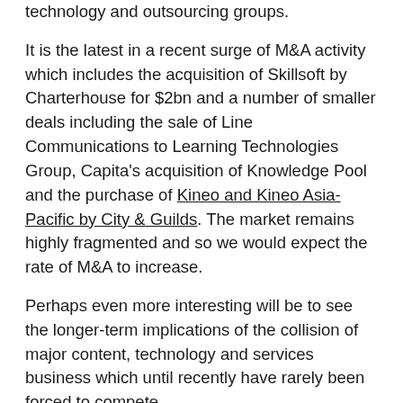technology and outsourcing groups.
It is the latest in a recent surge of M&A activity which includes the acquisition of Skillsoft by Charterhouse for $2bn and a number of smaller deals including the sale of Line Communications to Learning Technologies Group, Capita's acquisition of Knowledge Pool and the purchase of Kineo and Kineo Asia-Pacific by City & Guilds. The market remains highly fragmented and so we would expect the rate of M&A to increase.
Perhaps even more interesting will be to see the longer-term implications of the collision of major content, technology and services business which until recently have rarely been forced to compete.
← Back to Insights